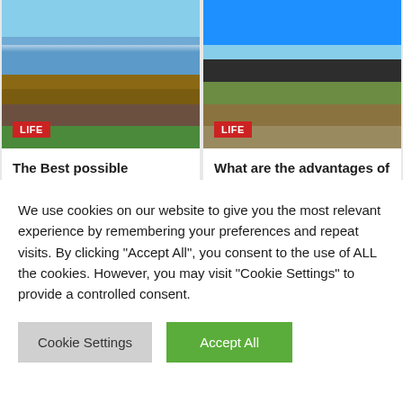[Figure (photo): Aerial or elevated photo of a city skyline with modern glass skyscrapers and older brick buildings, blue sky]
LIFE
The Best possible Southern Towns for
[Figure (photo): Outdoor camping setup with a dark awning/canopy extended from a vehicle, parked on dry grass under a blue sky]
LIFE
What are the advantages of
We use cookies on our website to give you the most relevant experience by remembering your preferences and repeat visits. By clicking "Accept All", you consent to the use of ALL the cookies. However, you may visit "Cookie Settings" to provide a controlled consent.
Cookie Settings
Accept All